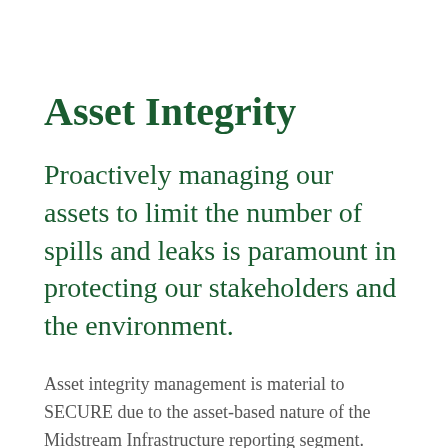Asset Integrity
Proactively managing our assets to limit the number of spills and leaks is paramount in protecting our stakeholders and the environment.
Asset integrity management is material to SECURE due to the asset-based nature of the Midstream Infrastructure reporting segment. Prevention of leaks and spills is critical as they have the potential to cause harm to the